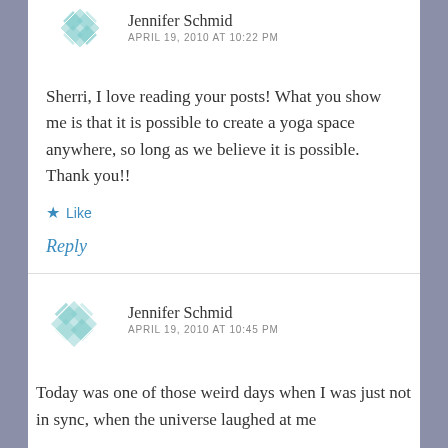Jennifer Schmid
APRIL 19, 2010 AT 10:22 PM
Sherri, I love reading your posts! What you show me is that it is possible to create a yoga space anywhere, so long as we believe it is possible. Thank you!!
Like
Reply
Jennifer Schmid
APRIL 19, 2010 AT 10:45 PM
Today was one of those weird days when I was just not in sync, when the universe laughed at me